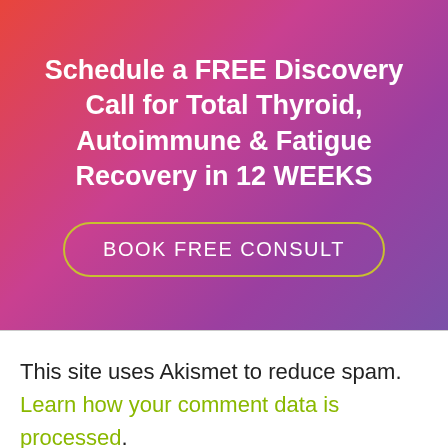[Figure (infographic): Gradient banner (red to purple) with white bold text 'Schedule a FREE Discovery Call for Total Thyroid, Autoimmune & Fatigue Recovery in 12 WEEKS' and a yellow-bordered rounded button labeled 'BOOK FREE CONSULT']
This site uses Akismet to reduce spam. Learn how your comment data is processed.